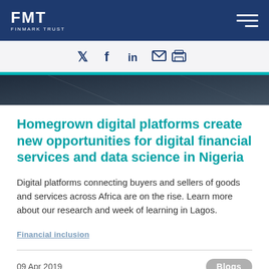FMT FINMARK TRUST
[Figure (logo): FMT Finmark Trust logo on dark navy header with hamburger menu icon]
[Figure (infographic): Social media sharing icons: Twitter, Facebook, LinkedIn, Email, Print on light grey bar]
[Figure (photo): Dark background hero image strip]
Homegrown digital platforms create new opportunities for digital financial services and data science in Nigeria
Digital platforms connecting buyers and sellers of goods and services across Africa are on the rise. Learn more about our research and week of learning in Lagos.
Financial inclusion
09 Apr 2019
Blogs